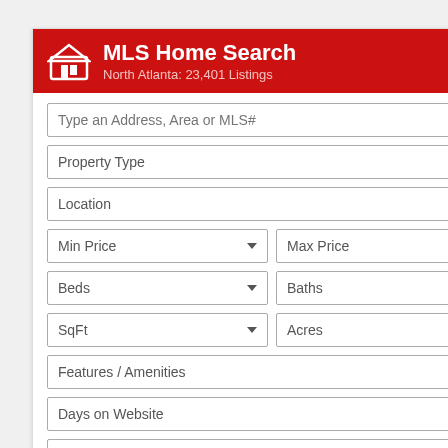MLS Home Search
North Atlanta: 23,401 Listings
Type an Address, Area or MLS#
Property Type
Location
Min Price
Max Price
Beds
Baths
SqFt
Acres
Features / Amenities
Days on Website
Price Reduced
Foreclosure / Bank-owned
Short Sale Listings
23,401 Matches